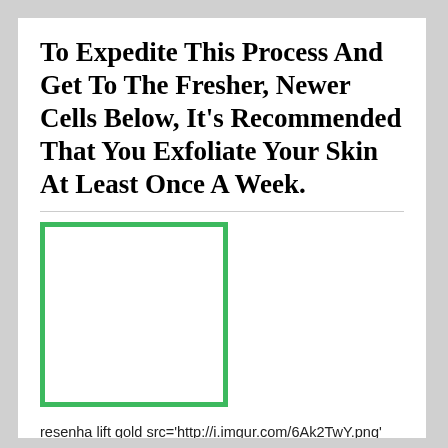To Expedite This Process And Get To The Fresher, Newer Cells Below, It's Recommended That You Exfoliate Your Skin At Least Once A Week.
[Figure (other): White rectangle with a green border, representing a placeholder image.]
resenha lift gold src='http://i.imgur.com/6Ak2TwY.png' width='250px' align='middle' /
Besides the normal facial skin care routine, you should